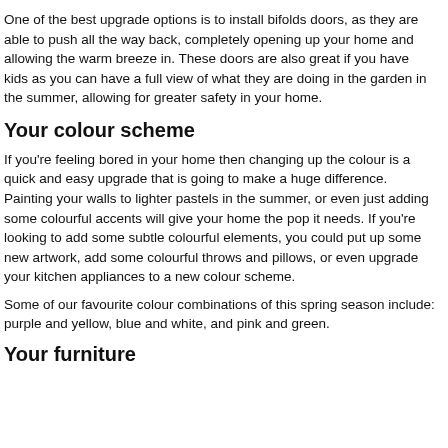One of the best upgrade options is to install bifolds doors, as they are able to push all the way back, completely opening up your home and allowing the warm breeze in. These doors are also great if you have kids as you can have a full view of what they are doing in the garden in the summer, allowing for greater safety in your home.
Your colour scheme
If you're feeling bored in your home then changing up the colour is a quick and easy upgrade that is going to make a huge difference. Painting your walls to lighter pastels in the summer, or even just adding some colourful accents will give your home the pop it needs. If you're looking to add some subtle colourful elements, you could put up some new artwork, add some colourful throws and pillows, or even upgrade your kitchen appliances to a new colour scheme.
Some of our favourite colour combinations of this spring season include: purple and yellow, blue and white, and pink and green.
Your furniture